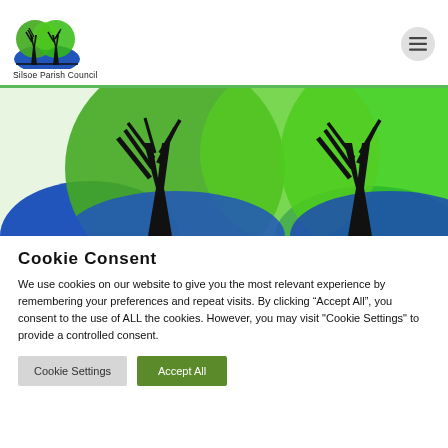Silsoe Parish Council
[Figure (illustration): Silsoe Parish Council logo with two stylized green trees with black trunks over a blue and green background]
[Figure (illustration): Banner image showing Silsoe Parish Council logo enlarged: two black-trunked trees with overlapping green and blue circular shapes]
Cookie Consent
We use cookies on our website to give you the most relevant experience by remembering your preferences and repeat visits. By clicking “Accept All”, you consent to the use of ALL the cookies. However, you may visit "Cookie Settings" to provide a controlled consent.
Cookie Settings | Accept All